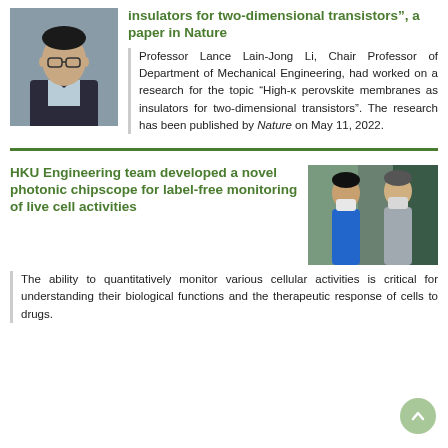[Figure (photo): Portrait photo of Professor Lance Lain-Jong Li, a man wearing glasses and a suit jacket]
insulators for two-dimensional transistors", a paper in Nature
Professor Lance Lain-Jong Li, Chair Professor of Department of Mechanical Engineering, had worked on a research for the topic “High-κ perovskite membranes as insulators for two-dimensional transistors”. The research has been published by Nature on May 11, 2022.
HKU Engineering team developed a novel photonic chipscope for label-free monitoring of live cell activities
[Figure (photo): Photo of two researchers wearing face masks standing in a laboratory or corridor setting]
The ability to quantitatively monitor various cellular activities is critical for understanding their biological functions and the therapeutic response of cells to drugs.